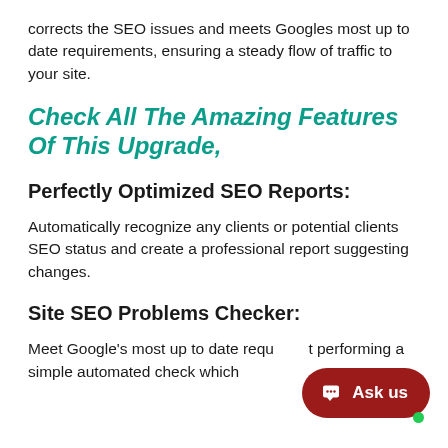corrects the SEO issues and meets Googles most up to date requirements, ensuring a steady flow of traffic to your site.
Check All The Amazing Features Of This Upgrade,
Perfectly Optimized SEO Reports:
Automatically recognize any clients or potential clients SEO status and create a professional report suggesting changes.
Site SEO Problems Checker:
Meet Google's most up to date requ... performing a simple automated check which